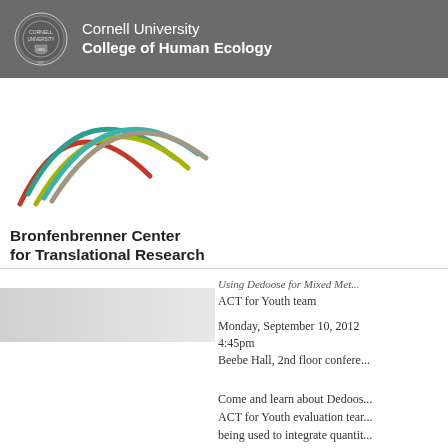Cornell University College of Human Ecology
[Figure (logo): Bronfenbrenner Center for Translational Research logo with colorful arching lines (red, teal, olive/yellow-green, gray) and text below]
Using Dedoose for Mixed Met...
ACT for Youth team
Monday, September 10, 2012
4:45pm
Beebe Hall, 2nd floor confere...
Come and learn about Dedoos... ACT for Youth evaluation tear... being used to integrate quantit...